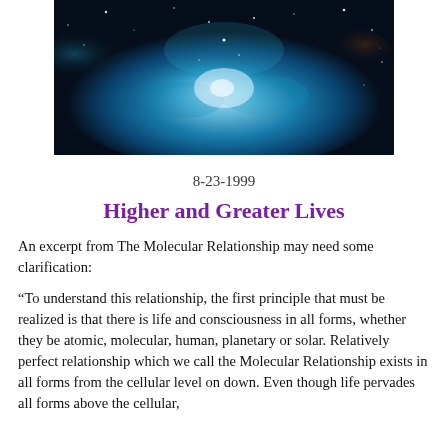[Figure (photo): A deep space nebula photograph with blue and teal glowing gas clouds and stars on a dark background.]
8-23-1999
Higher and Greater Lives
An excerpt from The Molecular Relationship may need some clarification:
“To understand this relationship, the first principle that must be realized is that there is life and consciousness in all forms, whether they be atomic, molecular, human, planetary or solar. Relatively perfect relationship which we call the Molecular Relationship exists in all forms from the cellular level on down. Even though life pervades all forms above the cellular,